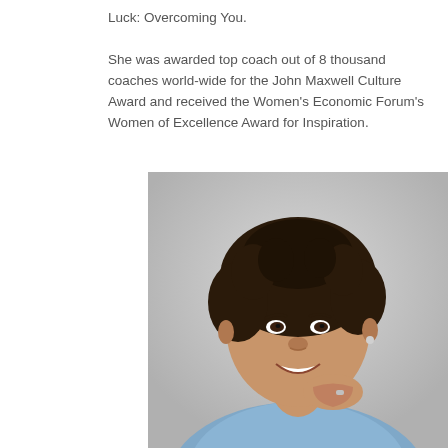Luck: Overcoming You.

She was awarded top coach out of 8 thousand coaches world-wide for the John Maxwell Culture Award and received the Women's Economic Forum's Women of Excellence Award for Inspiration.
[Figure (photo): Portrait photo of a smiling woman with short curly dark hair, wearing a denim jacket, resting her chin on her hand, photographed against a light gray background.]